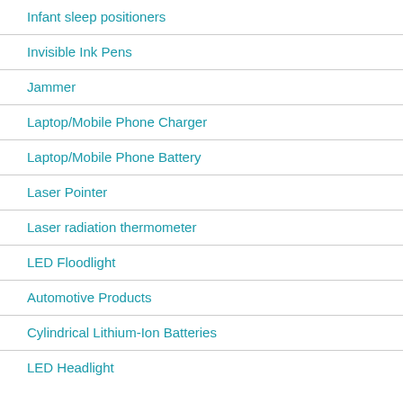Infant sleep positioners
Invisible Ink Pens
Jammer
Laptop/Mobile Phone Charger
Laptop/Mobile Phone Battery
Laser Pointer
Laser radiation thermometer
LED Floodlight
Automotive Products
Cylindrical Lithium-Ion Batteries
LED Headlight